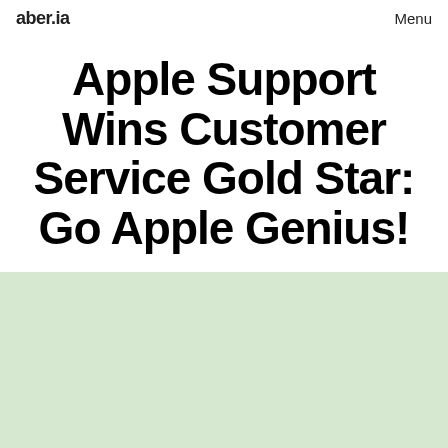aber.ia  Menu
Apple Support Wins Customer Service Gold Star: Go Apple Genius!
[Figure (other): Light green background section, likely an image placeholder]
Apple Has a MacBook Pro Problem: The 2018 MBP #Fail